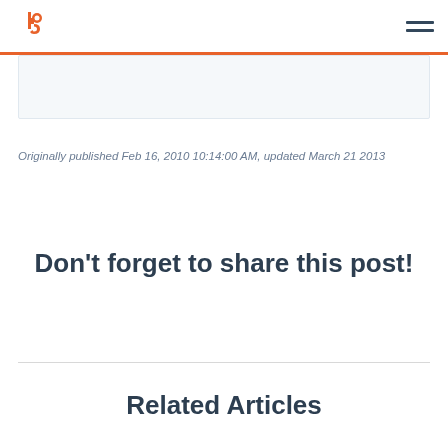HubSpot logo and navigation menu
Originally published Feb 16, 2010 10:14:00 AM, updated March 21 2013
Don't forget to share this post!
Related Articles